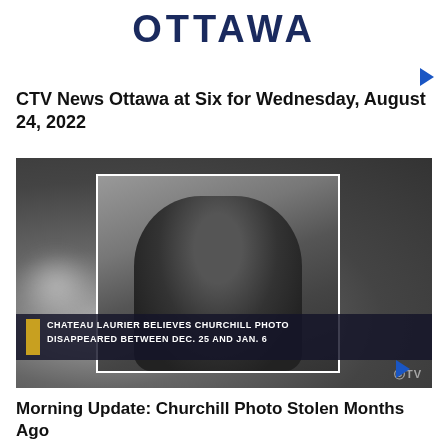OTTAWA
CTV News Ottawa at Six for Wednesday, August 24, 2022
[Figure (screenshot): Video thumbnail showing a black and white photograph of Winston Churchill seated, with a banner overlay reading 'CHATEAU LAURIER BELIEVES CHURCHILL PHOTO DISAPPEARED BETWEEN DEC. 25 AND JAN. 6'. CTV logo visible in lower right corner.]
Morning Update: Churchill Photo Stolen Months Ago